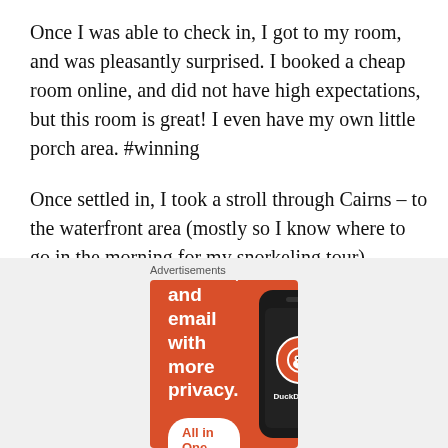Once I was able to check in, I got to my room, and was pleasantly surprised. I booked a cheap room online, and did not have high expectations, but this room is great! I even have my own little porch area. #winning
Once settled in, I took a stroll through Cairns – to the waterfront area (mostly so I know where to go in the morning for my snorkeling tour).
[Figure (infographic): DuckDuckGo advertisement banner on orange background. Text reads 'Search, browse, and email with more privacy. All in One Free App' with a phone showing DuckDuckGo logo.]